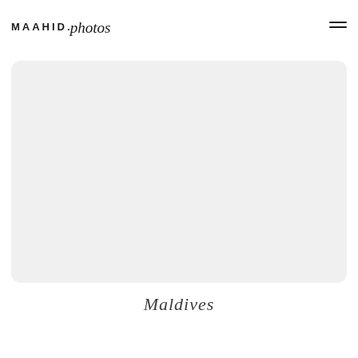MAAHID.photos
[Figure (photo): Large rectangular image placeholder with light gray background and rounded corners]
Maldives